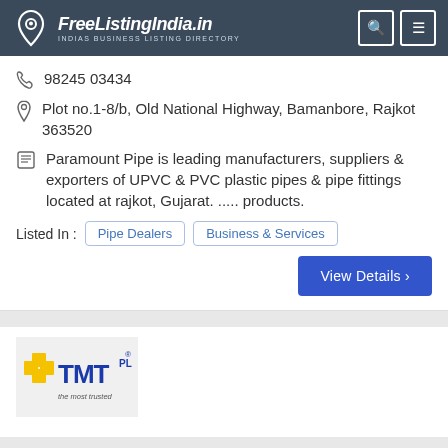FreeListingIndia.in — INDIAS BUSINESS LISTING DIRECTORY
98245 03434
Plot no.1-8/b, Old National Highway, Bamanbore, Rajkot 363520
Paramount Pipe is leading manufacturers, suppliers & exporters of UPVC & PVC plastic pipes & pipe fittings located at rajkot, Gujarat. ..... products.
Listed In : Pipe Dealers  Business & Services
View Details ›
[Figure (logo): TMT Plus logo — the most trusted]